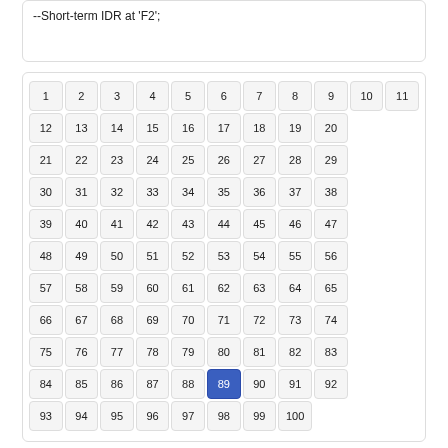--Short-term IDR at 'F2';
| 1 | 2 | 3 | 4 | 5 | 6 | 7 | 8 | 9 | 10 | 11 |
| 12 | 13 | 14 | 15 | 16 | 17 | 18 | 19 | 20 |
| 21 | 22 | 23 | 24 | 25 | 26 | 27 | 28 | 29 |
| 30 | 31 | 32 | 33 | 34 | 35 | 36 | 37 | 38 |
| 39 | 40 | 41 | 42 | 43 | 44 | 45 | 46 | 47 |
| 48 | 49 | 50 | 51 | 52 | 53 | 54 | 55 | 56 |
| 57 | 58 | 59 | 60 | 61 | 62 | 63 | 64 | 65 |
| 66 | 67 | 68 | 69 | 70 | 71 | 72 | 73 | 74 |
| 75 | 76 | 77 | 78 | 79 | 80 | 81 | 82 | 83 |
| 84 | 85 | 86 | 87 | 88 | 89* | 90 | 91 | 92 |
| 93 | 94 | 95 | 96 | 97 | 98 | 99 | 100 |